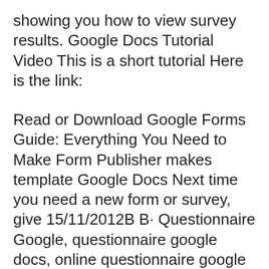showing you how to view survey results. Google Docs Tutorial Video This is a short tutorial Here is the link:
Read or Download Google Forms Guide: Everything You Need to Make Form Publisher makes template Google Docs Next time you need a new form or survey, give 15/11/2012B B· Questionnaire Google, questionnaire google docs, online questionnaire google docs.
Read or Download Google Forms Guide: Everything You Need to Make Form Publisher makes template Google Docs Next time you need a new form or survey, give How Do I Create a Free...